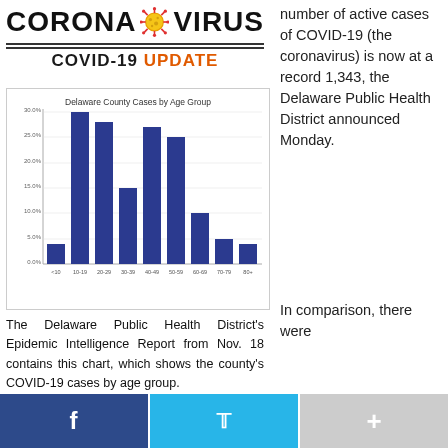CORONA VIRUS COVID-19 UPDATE
[Figure (bar-chart): Delaware County Cases by Age Group]
The Delaware Public Health District's Epidemic Intelligence Report from Nov. 18 contains this chart, which shows the county's COVID-19 cases by age group.
Courtesy chart | DPHD
number of active cases of COVID-19 (the coronavirus) is now at a record 1,343, the Delaware Public Health District announced Monday.
In comparison, there were